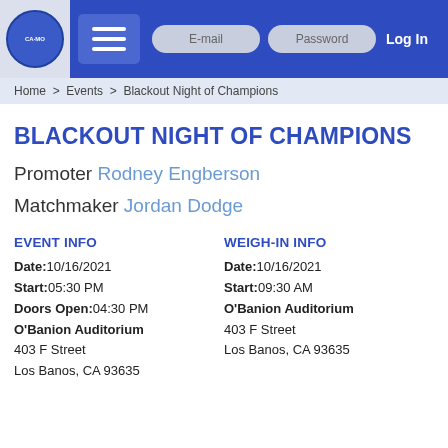E-mail | Password | Log In
Home > Events > Blackout Night of Champions
BLACKOUT NIGHT OF CHAMPIONS
Promoter Rodney Engberson
Matchmaker Jordan Dodge
EVENT INFO
Date:10/16/2021
Start:05:30 PM
Doors Open:04:30 PM
O'Banion Auditorium
403 F Street
Los Banos, CA 93635
WEIGH-IN INFO
Date:10/16/2021
Start:09:30 AM
O'Banion Auditorium
403 F Street
Los Banos, CA 93635